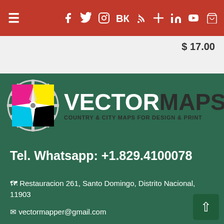≡ Facebook Twitter Instagram VK RSS Cross LinkedIn YouTube Cart
$ 17.00
[Figure (logo): VectorMaps logo: gear wheel with compass star and CMYK color squares, brand name VECTORMAPS, tagline COUNTRY & CITY MAPS FOR DESIGN & PRINT]
Tel. Whatsapp: +1.829.4100078
Restauracion 261, Santo Domingo, Distrito Nacional, 11903
vectormapper@gmail.com